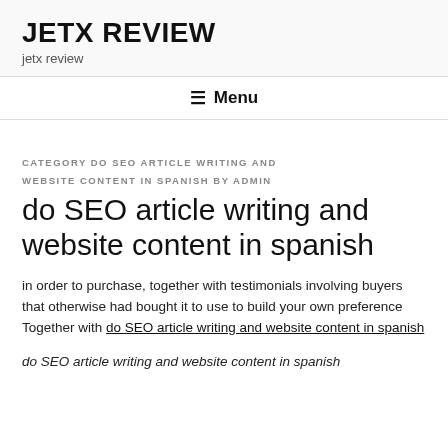JETX REVIEW
jetx review
≡ Menu
CATEGORY DO SEO ARTICLE WRITING AND WEBSITE CONTENT IN SPANISH BY ADMIN
do SEO article writing and website content in spanish
in order to purchase, together with testimonials involving buyers that otherwise had bought it to use to build your own preference Together with do SEO article writing and website content in spanish
do SEO article writing and website content in spanish